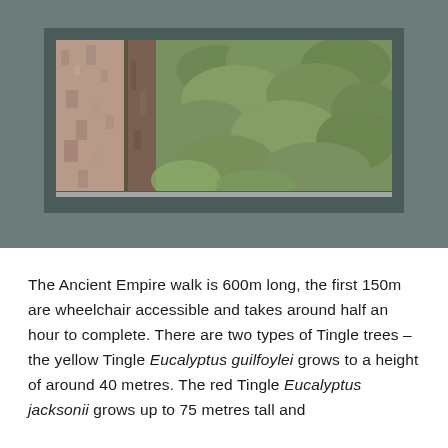[Figure (photo): Photograph of a forest scene viewed through a rectangular window-like opening set in a muted teal/grey wall. The window shows large tree trunks with rough bark on the left and dense green foliage on the right. A narrow shelf or ledge runs across the bottom of the window opening.]
The Ancient Empire walk is 600m long, the first 150m are wheelchair accessible and takes around half an hour to complete. There are two types of Tingle trees – the yellow Tingle Eucalyptus guilfoylei grows to a height of around 40 metres. The red Tingle Eucalyptus jacksonii grows up to 75 metres tall and